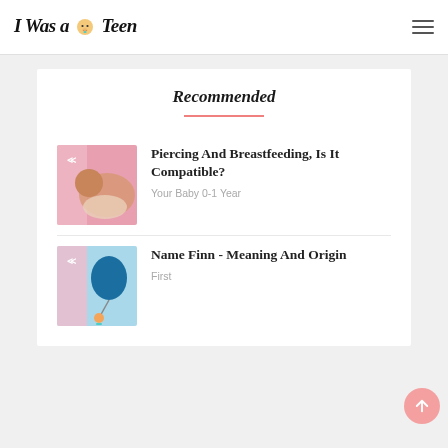I Was a Teen
Recommended
Piercing And Breastfeeding, Is It Compatible?
Your Baby 0-1 Year
Name Finn - Meaning And Origin
First